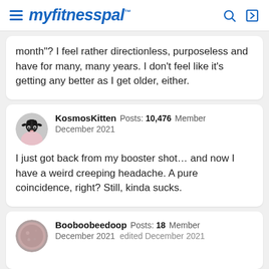myfitnesspal
month"? I feel rather directionless, purposeless and have for many, many years. I don't feel like it's getting any better as I get older, either.
KosmosKitten Posts: 10,476 Member
December 2021

I just got back from my booster shot... and now I have a weird creeping headache. A pure coincidence, right? Still, kinda sucks.
Booboobeedoop Posts: 18 Member
December 2021  edited December 2021